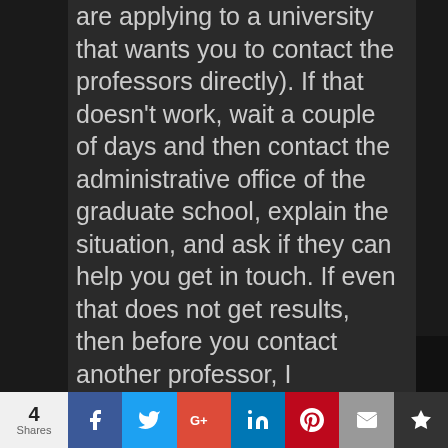are applying to a university that wants you to contact the professors directly). If that doesn't work, wait a couple of days and then contact the administrative office of the graduate school, explain the situation, and ask if they can help you get in touch. If even that does not get results, then before you contact another professor, I recommend sending one final email to the first professor, politely thanking them for their consideration but informing them that since they do not seem to be interested, you will be applying elsewhere.
4 Shares | Facebook | Twitter | Google+ | LinkedIn | Pinterest | Email | Bookmark